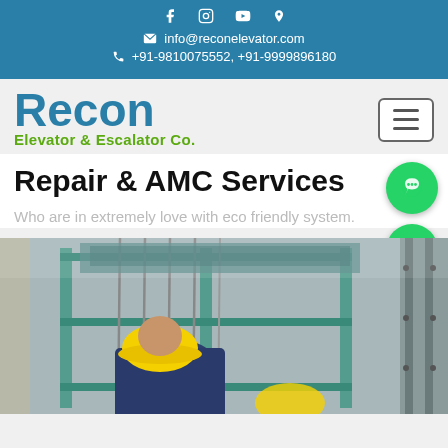info@reconelevator.com | +91-9810075552, +91-9999896180
[Figure (logo): Recon Elevator & Escalator Co. logo with hamburger menu button]
Repair & AMC Services
Who are in extremely love with eco friendly system.
[Figure (photo): Technician in yellow hard hat working on elevator machinery — cables and green metal framework visible]